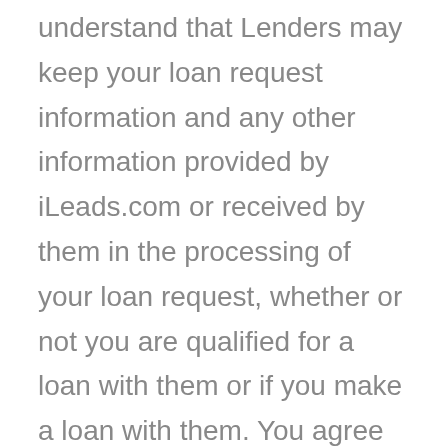understand that Lenders may keep your loan request information and any other information provided by iLeads.com or received by them in the processing of your loan request, whether or not you are qualified for a loan with them or if you make a loan with them. You agree to notify any particular Lender directly if you no longer want to receive communications from them.